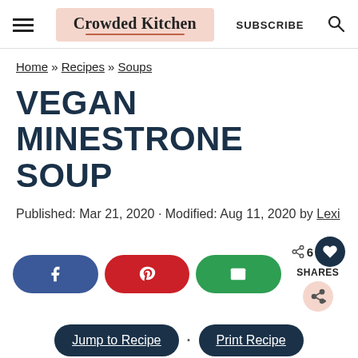Crowded Kitchen | SUBSCRIBE
Home » Recipes » Soups
VEGAN MINESTRONE SOUP
Published: Mar 21, 2020 · Modified: Aug 11, 2020 by Lexi
[Figure (infographic): Social share buttons: Facebook (blue), Pinterest (red), Email (green), share count 6 with heart icon and SHARES label, and a share-plus circle button]
Jump to Recipe · Print Recipe